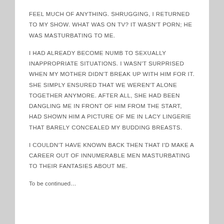FEEL MUCH OF ANYTHING. SHRUGGING, I RETURNED TO MY SHOW. WHAT WAS ON TV? IT WASN'T PORN; HE WAS MASTURBATING TO ME.
I HAD ALREADY BECOME NUMB TO SEXUALLY INAPPROPRIATE SITUATIONS. I WASN'T SURPRISED WHEN MY MOTHER DIDN'T BREAK UP WITH HIM FOR IT. SHE SIMPLY ENSURED THAT WE WEREN'T ALONE TOGETHER ANYMORE. AFTER ALL, SHE HAD BEEN DANGLING ME IN FRONT OF HIM FROM THE START, HAD SHOWN HIM A PICTURE OF ME IN LACY LINGERIE THAT BARELY CONCEALED MY BUDDING BREASTS.
I COULDN'T HAVE KNOWN BACK THEN THAT I'D MAKE A CAREER OUT OF INNUMERABLE MEN MASTURBATING TO THEIR FANTASIES ABOUT ME.
To be continued…